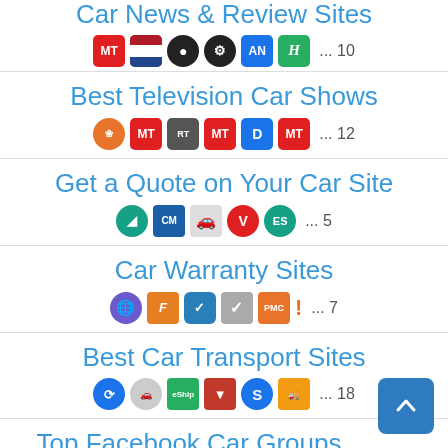Car News & Review Sites
... 10
Best Television Car Shows
... 12
Get a Quote on Your Car Site
... 5
Car Warranty Sites
... 7
Best Car Transport Sites
... 18
Top Facebook Car Groups
... 10